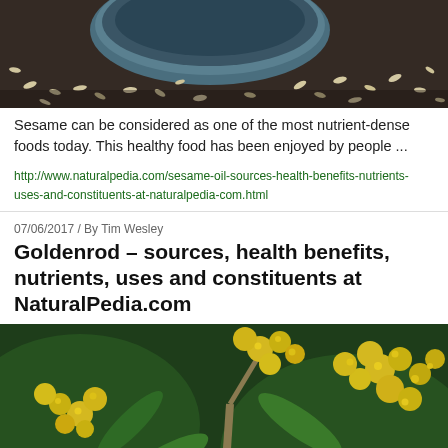[Figure (photo): Close-up photo of sesame seeds scattered on a dark wooden surface with a blue-gray bowl in the background]
Sesame can be considered as one of the most nutrient-dense foods today. This healthy food has been enjoyed by people ...
http://www.naturalpedia.com/sesame-oil-sources-health-benefits-nutrients-uses-and-constituents-at-naturalpedia-com.html
07/06/2017 / By Tim Wesley
Goldenrod – sources, health benefits, nutrients, uses and constituents at NaturalPedia.com
[Figure (photo): Close-up photograph of goldenrod plant with bright yellow flower clusters against a green bokeh background]